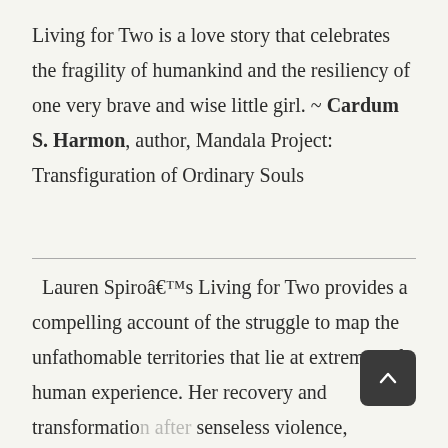Living for Two is a love story that celebrates the fragility of humankind and the resiliency of one very brave and wise little girl. ~ Cardum S. Harmon, author, Mandala Project: Transfiguration of Ordinary Souls
Lauren Spiroâ€™s Living for Two provides a compelling account of the struggle to map the unfathomable territories that lie at extremes of human experience. Her recovery and transformation after senseless violence, profound loss, spiritual emergency and extreme